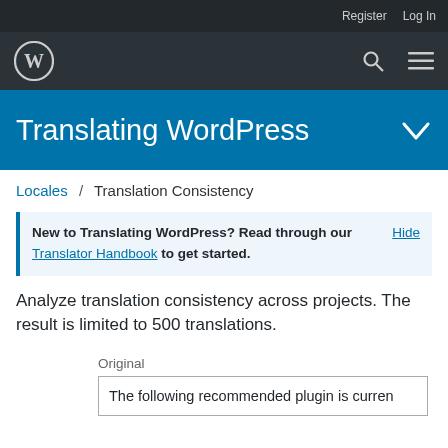Register   Log In
[Figure (logo): WordPress logo (W in circle) in dark navigation bar with search and menu icons]
Translating WordPress
Locales / Translation Consistency
New to Translating WordPress? Read through our Translator Handbook to get started.   Hide
Analyze translation consistency across projects. The result is limited to 500 translations.
Original
The following recommended plugin is curren